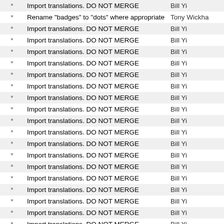|  |  |  |
| --- | --- | --- |
| * | Import translations. DO NOT MERGE | Bill Yi |
| * | Rename "badges" to "dots" where appropriate | Tony Wickha |
| * | Import translations. DO NOT MERGE | Bill Yi |
| * | Import translations. DO NOT MERGE | Bill Yi |
| * | Import translations. DO NOT MERGE | Bill Yi |
| * | Import translations. DO NOT MERGE | Bill Yi |
| * | Import translations. DO NOT MERGE | Bill Yi |
| * | Import translations. DO NOT MERGE | Bill Yi |
| * | Import translations. DO NOT MERGE | Bill Yi |
| * | Import translations. DO NOT MERGE | Bill Yi |
| * | Import translations. DO NOT MERGE | Bill Yi |
| * | Import translations. DO NOT MERGE | Bill Yi |
| * | Import translations. DO NOT MERGE | Bill Yi |
| * | Import translations. DO NOT MERGE | Bill Yi |
| * | Import translations. DO NOT MERGE | Bill Yi |
| * | Import translations. DO NOT MERGE | Bill Yi |
| * | Import translations. DO NOT MERGE | Bill Yi |
| * | Import translations. DO NOT MERGE | Bill Yi |
| * | Import translations. DO NOT MERGE | Bill Yi |
| * | Import translations. DO NOT MERGE | Bill Yi |
| * | Import translations. DO NOT MERGE | Bill Yi |
| * | Import translations. DO NOT MERGE | Bill Yi |
| * | Import translations. DO NOT MERGE | Bill Yi |
| * | Import translations. DO NOT MERGE | Bill Yi |
| * | Import translations. DO NOT MERGE | Bill Yi |